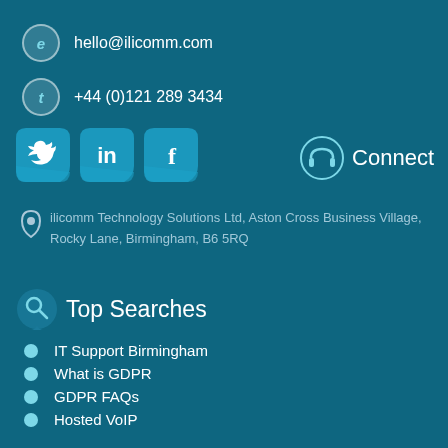hello@ilicomm.com
+44 (0)121 289 3434
[Figure (infographic): Social media icons for Twitter, LinkedIn, and Facebook, styled as teal speech bubble icons]
Connect
ilicomm Technology Solutions Ltd, Aston Cross Business Village, Rocky Lane, Birmingham, B6 5RQ
Top Searches
IT Support Birmingham
What is GDPR
GDPR FAQs
Hosted VoIP
Cyber Essentials
ilicomm Blog